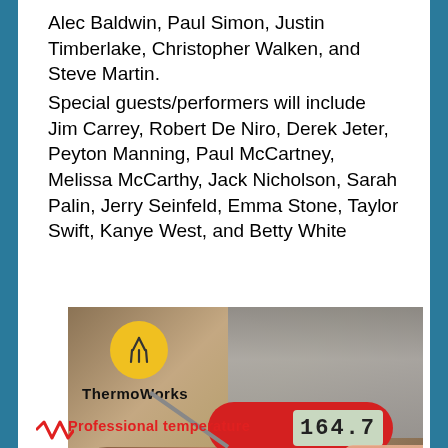Alec Baldwin, Paul Simon, Justin Timberlake, Christopher Walken, and Steve Martin.
Special guests/performers will include Jim Carrey, Robert De Niro, Derek Jeter, Peyton Manning, Paul McCartney, Melissa McCarthy, Jack Nicholson, Sarah Palin, Jerry Seinfeld, Emma Stone, Taylor Swift, Kanye West, and Betty White
[Figure (photo): ThermoWorks advertisement showing a red digital meat thermometer reading 164.7 being inserted into a roasted meat, with ThermoWorks logo (yellow circle with heat waves symbol) in upper left.]
Professional temperature